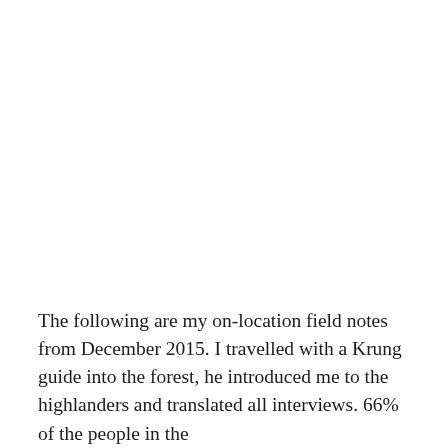The following are my on-location field notes from December 2015. I travelled with a Krung guide into the forest, he introduced me to the highlanders and translated all interviews. 66% of the people in the for the people of Cambodia called Bunong, this...